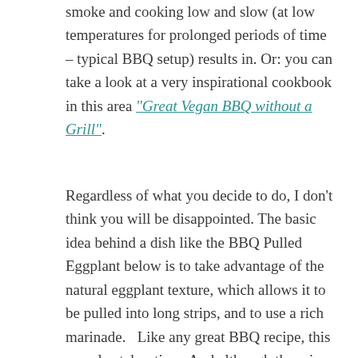smoke and cooking low and slow (at low temperatures for prolonged periods of time – typical BBQ setup) results in. Or: you can take a look at a very inspirational cookbook in this area “Great Vegan BBQ without a Grill”.
Regardless of what you decide to do, I don’t think you will be disappointed. The basic idea behind a dish like the BBQ Pulled Eggplant below is to take advantage of the natural eggplant texture, which allows it to be pulled into long strips, and to use a rich marinade.   Like any great BBQ recipe, this one also takes time. And although there is no need for low and slow cooking here, there is a need for long marinating, which will help add an incredible amount of flavor to the